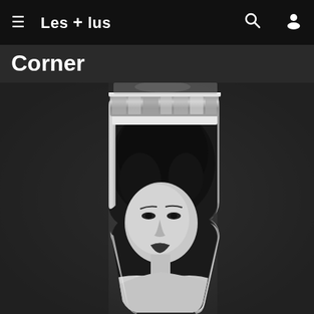≡  Les + lus   🔍   👤
Corner
[Figure (photo): Black and white artistic photograph of a woman's face and upper body, reflected or displayed inside a cylindrical container or tube-like object with a decorative crystalline band at the top. The image has a surrealist quality with the woman's portrait appearing within the curved interior of the tube shape.]